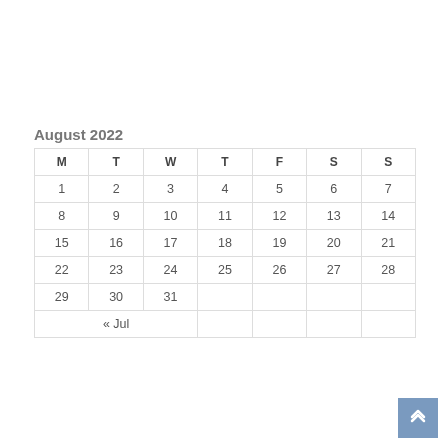August 2022
| M | T | W | T | F | S | S |
| --- | --- | --- | --- | --- | --- | --- |
| 1 | 2 | 3 | 4 | 5 | 6 | 7 |
| 8 | 9 | 10 | 11 | 12 | 13 | 14 |
| 15 | 16 | 17 | 18 | 19 | 20 | 21 |
| 22 | 23 | 24 | 25 | 26 | 27 | 28 |
| 29 | 30 | 31 |  |  |  |  |
| « Jul |  |  |  |  |  |  |